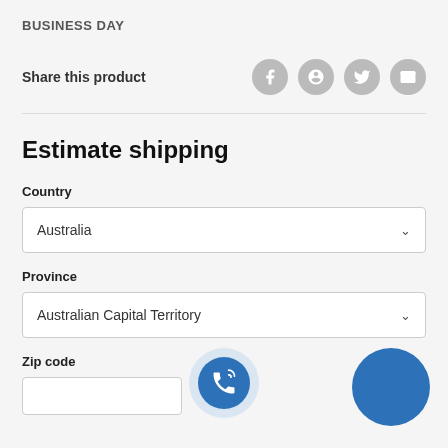BUSINESS DAY
Share this product
Estimate shipping
Country
Australia
Province
Australian Capital Territory
Zip code